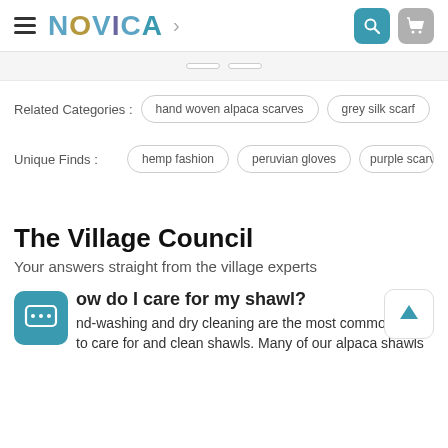NOVICA
Related Categories : hand woven alpaca scarves  grey silk scarf
Unique Finds : hemp fashion  peruvian gloves  purple scarves
The Village Council
Your answers straight from the village experts
How do I care for my shawl?
Hand-washing and dry cleaning are the most common ways to care for and clean shawls. Many of our alpaca shawls